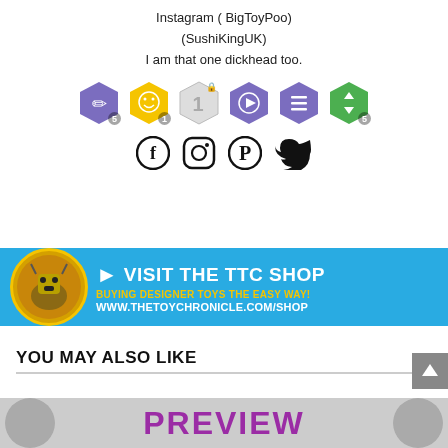Instagram ( BigToyPoo)
(SushiKingUK)
I am that one dickhead too.
[Figure (infographic): Row of 6 hexagonal badge icons: purple pencil badge with 5, yellow smiley badge with 1, grey/white badge with 1 and lock icon, purple play button badge, purple list badge, green up/down arrow badge with 5]
[Figure (infographic): Social media icons row: Facebook, Instagram, Pinterest, Twitter]
[Figure (infographic): Blue banner advertisement: Visit The TTC Shop - Buying designer toys the easy way! www.thetoychronicle.com/shop - with robot toy image on left]
YOU MAY ALSO LIKE
[Figure (infographic): Preview banner with purple PREVIEW text and two circular toy images on sides]